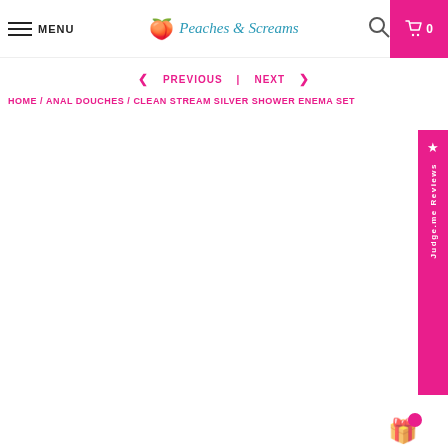MENU | Peaches & Screams | Search | Cart 0
< PREVIOUS  |  NEXT >
HOME / ANAL DOUCHES / CLEAN STREAM SILVER SHOWER ENEMA SET
[Figure (other): Judge.me Reviews side panel in pink with star icon, and a gift icon at bottom right]